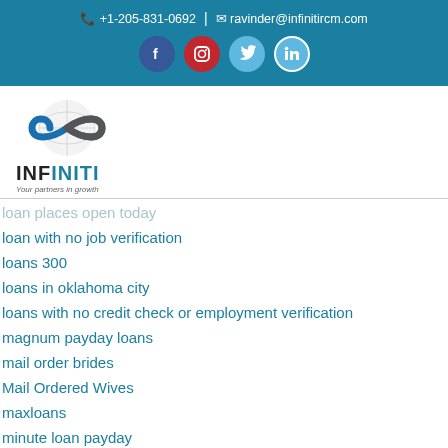+1-205-831-0692 | ravinder@infinitircm.com
[Figure (logo): Infiniti RCM logo with infinity symbol and text 'INFINITI - Your partners in growth']
loan places open today
loan with no job verification
loans 300
loans in oklahoma city
loans with no credit check or employment verification
magnum payday loans
mail order brides
Mail Ordered Wives
maxloans
minute loan payday
mobileloans
my cash now